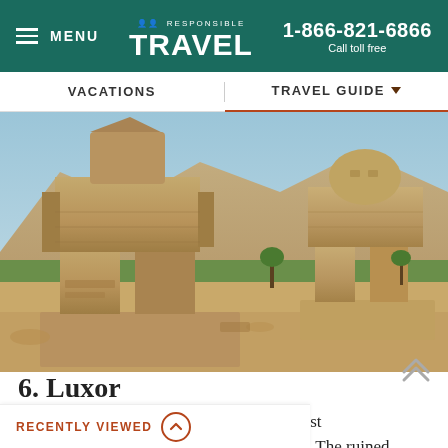≡ MENU  ΩΩ RESPONSIBLE TRAVEL  1-866-821-6866  Call toll free
VACATIONS  TRAVEL GUIDE
[Figure (photo): Two large ancient Egyptian stone colossi statues (Colossi of Memnon) in a desert landscape with mountains and green trees in the background, Luxor, Egypt.]
6. Luxor
When people call Luxor the 'world's greatest open-air museum' they're not exaggerating. The ruined temples of Karnak, the Colossi of
RECENTLY VIEWED